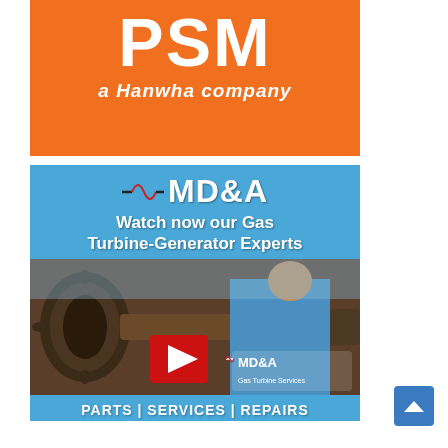[Figure (logo): PSM a Hanwha company logo — white bold text 'PSM' and 'a Hanwha company' on orange background]
[Figure (advertisement): MD&A Gas Turbine Services advertisement on blue background. Logo with sine-wave graphic and 'MD&A' text. Text reads 'Watch now our Gas Turbine-Generator Experts'. Photo shows worker in blue shirt handling turbine gear components. Red play button icon and MD&A Gas Turbine Services logo. Footer bar: 'PARTS | SERVICES | REPAIRS']